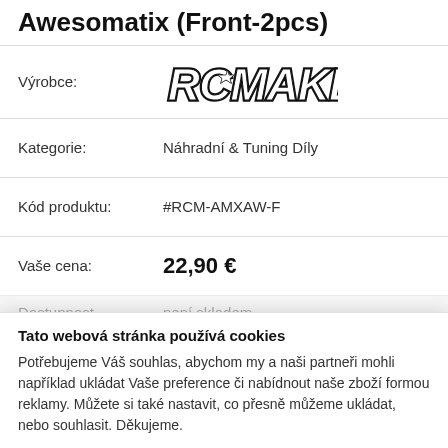Awesomatix (Front-2pcs)
| Label | Value |
| --- | --- |
| Výrobce: | RCMAKER (logo) |
| Kategorie: | Náhradní & Tuning Díly |
| Kód produktu: | #RCM-AMXAW-F |
| Vaše cena: | 22,90 € |
Dostupnost: není skladem
Máme Vás upozornit, až bude produkt skladem? Zadejte e-
Tato webová stránka používá cookies
Potřebujeme Váš souhlas, abychom my a naši partneři mohli například ukládat Vaše preference či nabídnout naše zboží formou reklamy. Můžete si také nastavit, co přesně můžeme ukládat, nebo souhlasit. Děkujeme.